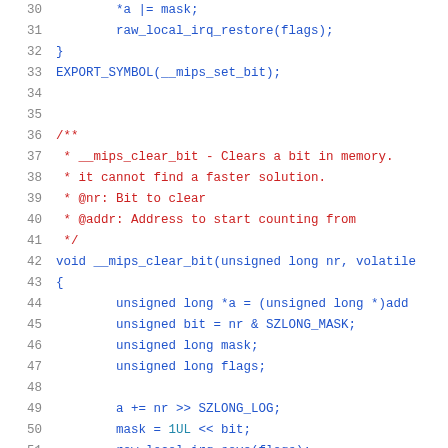Source code listing lines 30-51, C kernel code for __mips_clear_bit function